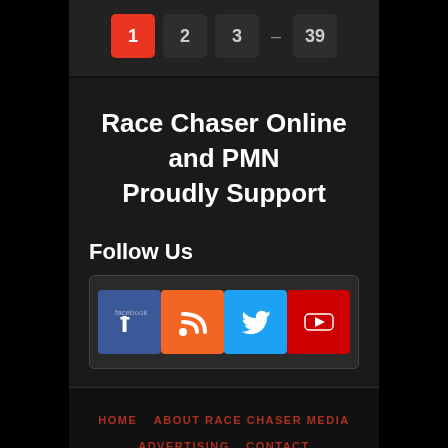Pagination: 1 2 3 … 39
Race Chaser Online and PMN Proudly Support
Follow Us
[Figure (infographic): Social media icons: Facebook, RSS feed, Twitter, YouTube]
HOME   ABOUT RACE CHASER MEDIA   ADVERTISING   CONTACT